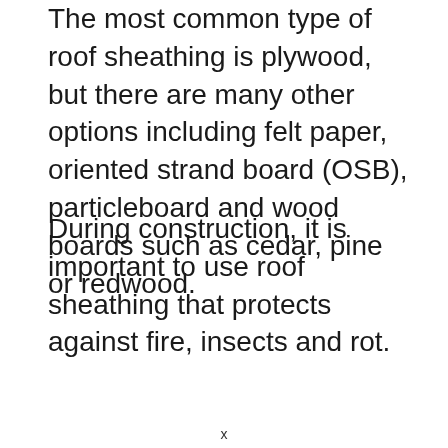The most common type of roof sheathing is plywood, but there are many other options including felt paper, oriented strand board (OSB), particleboard and wood boards such as cedar, pine or redwood.
During construction, it is important to use roof sheathing that protects against fire, insects and rot.
x